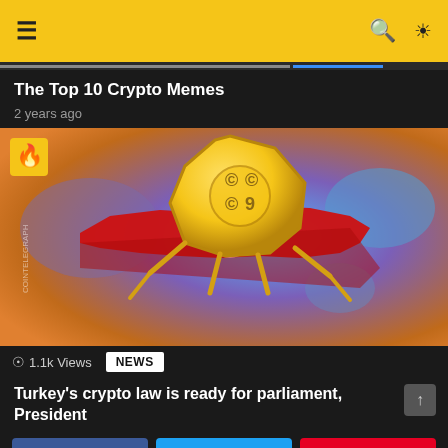Navigation bar with hamburger menu, search, and brightness icons
The Top 10 Crypto Memes
2 years ago
[Figure (illustration): Crypto coin character with robotic arms standing on a map of Turkey with Turkish flag colors (red with white crescent and star), set against a colorful blue-purple globe background. A fire badge icon is in the top-left corner.]
1.1k Views  NEWS
Turkey's crypto law is ready for parliament, President
SHARE  TWEET  PIN